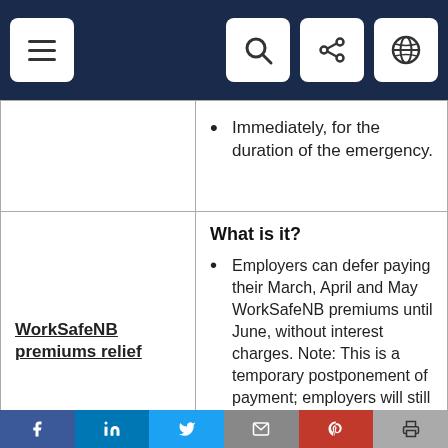Navigation bar with menu, search, share, and globe icons
Immediately, for the duration of the emergency.
| Program | Details |
| --- | --- |
| WorkSafeNB premiums relief | What is it?
• Employers can defer paying their March, April and May WorkSafeNB premiums until June, without interest charges. Note: This is a temporary postponement of payment; employers will still owe the premiums.
Who's eligible? |
f | in | Twitter | Email | Pinterest | Print